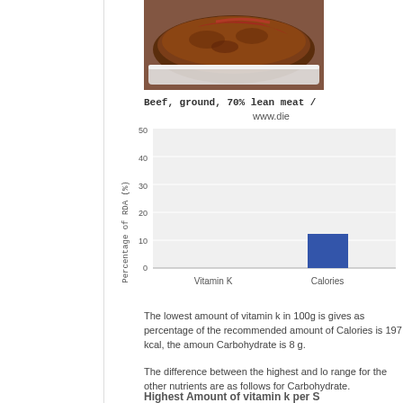[Figure (photo): Photo of cooked ground beef meatloaf dish in a white baking pan]
Beef, ground, 70% lean meat /
www.die
[Figure (bar-chart): Percentage of RDA (%)]
The lowest amount of vitamin k in 100g is gives as percentage of the recommended amount of Calories is 197 kcal, the amoun Carbohydrate is 8 g.
The difference between the highest and lo range for the other nutrients are as follows for Carbohydrate.
Highest Amount of vitamin k per S
Please remember that the above gives a